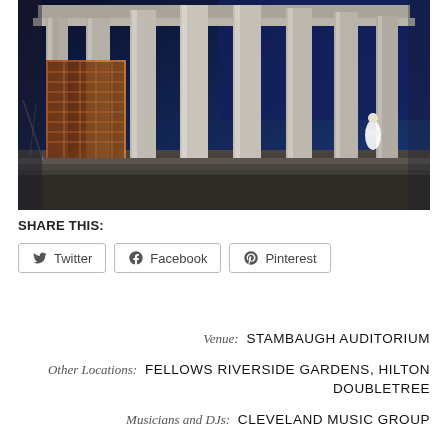[Figure (photo): Night photograph of a grand neoclassical building with tall stone columns illuminated against a dark blue sky. Steps and entrance visible with warm orange light inside. A figure in white (possibly a bride) is seen at the right side of the steps.]
SHARE THIS:
Twitter  Facebook  Pinterest
Venue: STAMBAUGH AUDITORIUM
Other Locations: FELLOWS RIVERSIDE GARDENS, HILTON DOUBLETREE
Musicians and DJs: CLEVELAND MUSIC GROUP